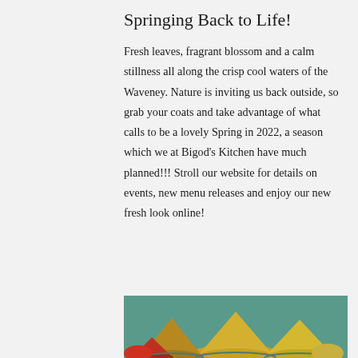Springing Back to Life!
Fresh leaves, fragrant blossom and a calm stillness all along the crisp cool waters of the Waveney. Nature is inviting us back outside, so grab your coats and take advantage of what calls to be a lovely Spring in 2022, a season which we at Bigod's Kitchen have much planned!!! Stroll our website for details on events, new menu releases and enjoy our new fresh look online!
[Figure (photo): Colorful mounds of spices in bowls, including yellow, golden, and red spice powders, viewed from a low angle.]